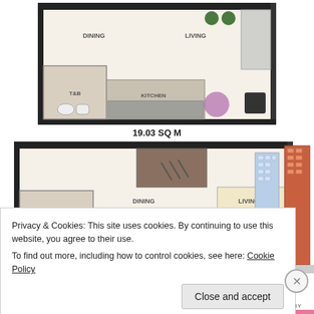[Figure (schematic): Floor plan 1: Studio type unit layout showing DINING, LIVING, T&B, KITCHEN areas. 19.03 SQ M.]
19.03 SQ M
[Figure (schematic): Floor plan 2: Studio type unit layout showing DINING, LIVING, T&B, KITCHEN areas. 20.00 SQ M.]
20.00 SQ M
[Figure (illustration): Two tall condominium towers - one silver/blue and one red/orange - Symphony towers logo.]
STUDIO TYPE UNIT LAYOUT
Privacy & Cookies: This site uses cookies. By continuing to use this website, you agree to their use.
To find out more, including how to control cookies, see here: Cookie Policy
Close and accept